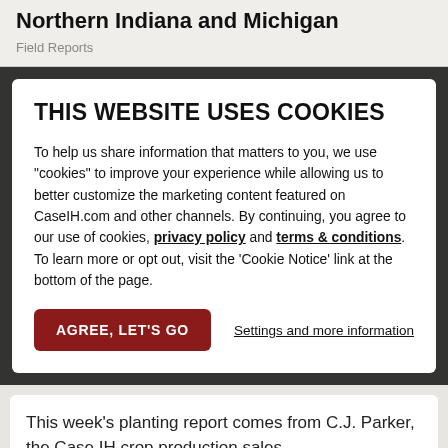Northern Indiana and Michigan
Field Reports
THIS WEBSITE USES COOKIES
To help us share information that matters to you, we use "cookies" to improve your experience while allowing us to better customize the marketing content featured on CaseIH.com and other channels. By continuing, you agree to our use of cookies, privacy policy and terms & conditions. To learn more or opt out, visit the 'Cookie Notice' link at the bottom of the page.
AGREE, LET'S GO
Settings and more information
This week's planting report comes from C.J. Parker, the Case IH crop production sales